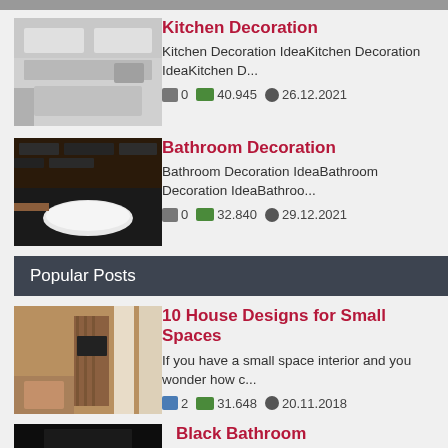[Figure (photo): Partial top image, cropped at top of page]
[Figure (photo): Kitchen interior with white cabinets and modern design]
Kitchen Decoration
Kitchen Decoration IdeaKitchen Decoration IdeaKitchen D...
0  40.945  26.12.2021
[Figure (photo): Dark luxury bathroom with black stone walls and freestanding tub]
Bathroom Decoration
Bathroom Decoration IdeaBathroom Decoration IdeaBathroo...
0  32.840  29.12.2021
Popular Posts
[Figure (photo): Modern living room interior with wooden panels and TV]
10 House Designs for Small Spaces
If you have a small space interior and you wonder how c...
2  31.648  20.11.2018
[Figure (photo): Black bathroom interior]
Black Bathroom
Oh, I fell in love with this bathroom. All in